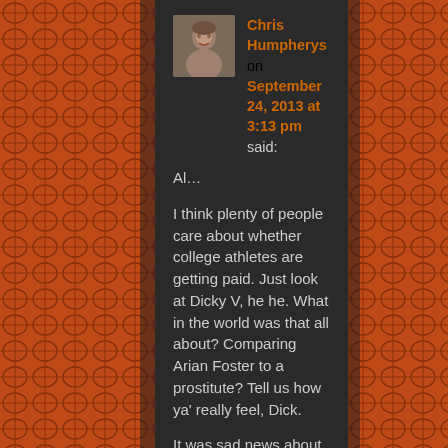[Figure (photo): User avatar photo of a person]
Chris Humpherys on September 24, 2013 at 3:13 pm said:
Al...

I think plenty of people care about whether college athletes are getting paid. Just look at Dicky V, he he. What in the world was that all about? Comparing Arian Foster to a prostitute? Tell us how ya' really feel, Dick.

It was sad news about Ken Norton. Even sadder considering I don't think he and